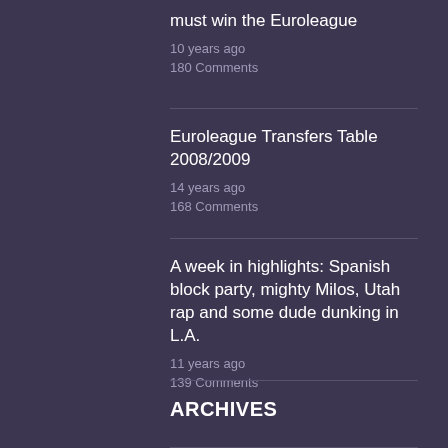must win the Euroleague
10 years ago
180 Comments
Euroleague Transfers Table 2008/2009
14 years ago
168 Comments
A week in highlights: Spanish block party, mighty Milos, Utah rap and some dude dunking in L.A.
11 years ago
139 Comments
ARCHIVES